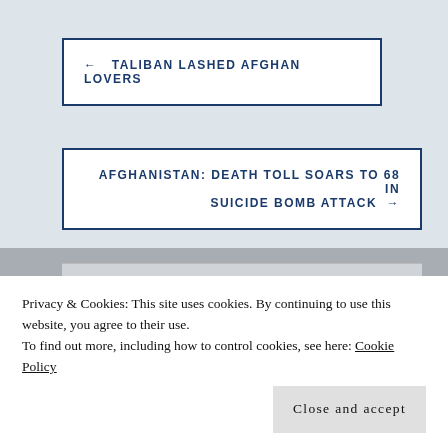← TALIBAN LASHED AFGHAN LOVERS
AFGHANISTAN: DEATH TOLL SOARS TO 68 IN SUICIDE BOMB ATTACK →
Privacy & Cookies: This site uses cookies. By continuing to use this website, you agree to their use.
To find out more, including how to control cookies, see here: Cookie Policy
Close and accept
Death and devastation as Taliban rockets hit Balkhab